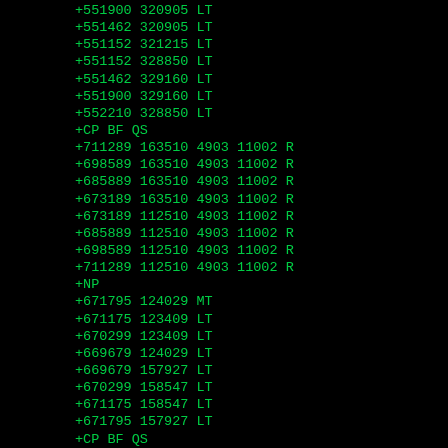+551900 320905 LT
+551462 320905 LT
+551152 321215 LT
+551152 328850 LT
+551462 329160 LT
+551900 329160 LT
+552210 328850 LT
+CP BF QS
+711289 163510 4903 11002 R
+698589 163510 4903 11002 R
+685889 163510 4903 11002 R
+673189 163510 4903 11002 R
+673189 112510 4903 11002 R
+685889 112510 4903 11002 R
+698589 112510 4903 11002 R
+711289 112510 4903 11002 R
+NP
+671795 124029 MT
+671175 123409 LT
+670299 123409 LT
+669679 124029 LT
+669679 157927 LT
+670299 158547 LT
+671175 158547 LT
+671795 157927 LT
+CP BF QS
+NP
+671795 157051 MT
+671175 156431 LT
+670299 156431 LT